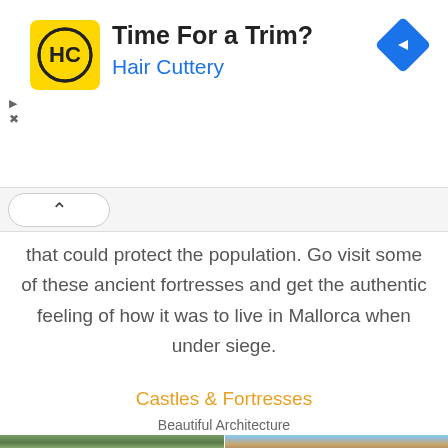[Figure (infographic): Hair Cuttery advertisement banner with yellow/black logo, 'Time For a Trim?' headline, 'Hair Cuttery' subtitle in blue, blue diamond navigation arrow icon top right, and play/close ad controls on left]
that could protect the population. Go visit some of these ancient fortresses and get the authentic feeling of how it was to live in Mallorca when under siege.
Castles & Fortresses
Beautiful Architecture
[Figure (photo): Two side-by-side photos of Mallorca architecture: left photo shows a building with trees, right photo shows a building with arched windows against blue sky]